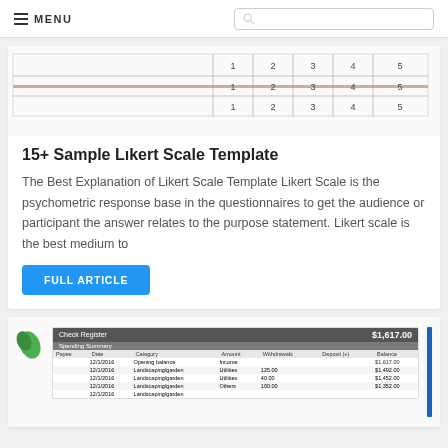MENU
[Figure (table-as-image): Partial view of a Likert scale template showing rows with numbered columns 1 2 3 4 5]
15+ Sample Likert Scale Template
The Best Explanation of Likert Scale Template Likert Scale is the psychometric response base in the questionnaires to get the audience or participant the answer relates to the purpose statement. Likert scale is the best medium to
FULL ARTICLE
[Figure (screenshot): Partial view of a Check Register spreadsheet template showing $1,617.00 balance and a Spending Summary table]